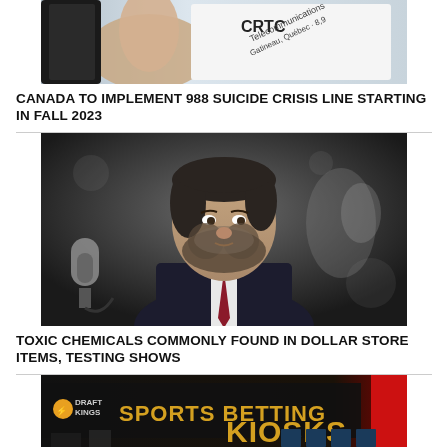[Figure (photo): A hand holding a document showing CRTC Telecommunications letterhead, Gatineau, Quebec]
CANADA TO IMPLEMENT 988 SUICIDE CRISIS LINE STARTING IN FALL 2023
[Figure (photo): A man with a beard in a dark suit and tie speaking at a microphone, photographed indoors]
TOXIC CHEMICALS COMMONLY FOUND IN DOLLAR STORE ITEMS, TESTING SHOWS
[Figure (photo): A DraftKings Sports Betting Kiosks sign at what appears to be a venue or casino]